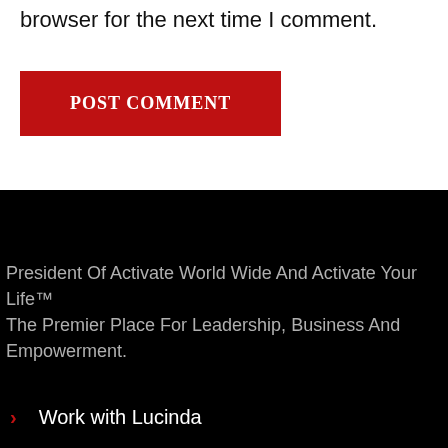browser for the next time I comment.
POST COMMENT
President Of Activate World Wide And Activate Your Life™ The Premier Place For Leadership, Business And Empowerment.
Work with Lucinda